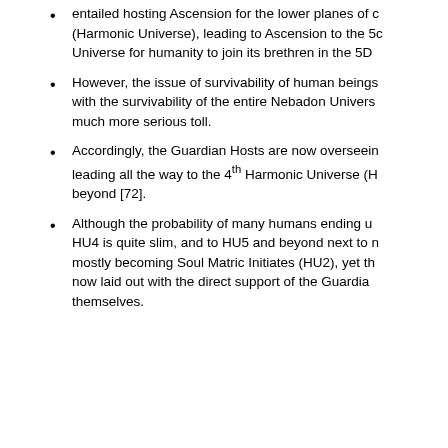entailed hosting Ascension for the lower planes of (Harmonic Universe), leading to Ascension to the 5 Universe for humanity to join its brethren in the 5D
However, the issue of survivability of human beings with the survivability of the entire Nebadon Univers much more serious toll.
Accordingly, the Guardian Hosts are now overseein leading all the way to the 4th Harmonic Universe (H beyond [72].
Although the probability of many humans ending u HU4 is quite slim, and to HU5 and beyond next to n mostly becoming Soul Matric Initiates (HU2), yet th now laid out with the direct support of the Guardia themselves.